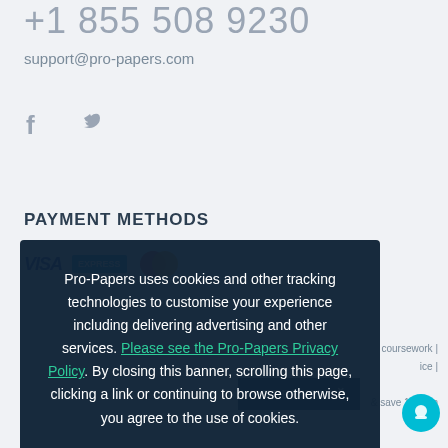+1 855 508 9230
support@pro-papers.com
[Figure (illustration): Facebook and Twitter social media icons in grey]
PAYMENT METHODS
[Figure (logo): Visa, Express, and Mastercard payment method logos]
coursework | ice |
& save 15% on
[Figure (screenshot): Cookie consent overlay dialog with OK button]
Pro-Papers uses cookies and other tracking technologies to customise your experience including delivering advertising and other services. Please see the Pro-Papers Privacy Policy. By closing this banner, scrolling this page, clicking a link or continuing to browse otherwise, you agree to the use of cookies.
ORDER NOW
[Figure (illustration): Cyan chat button circle at bottom right]